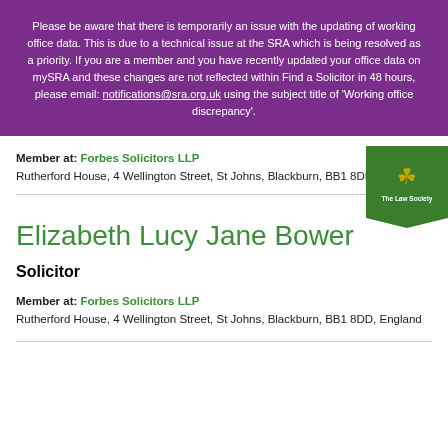Please be aware that there is temporarily an issue with the updating of working office data. This is due to a technical issue at the SRA which is being resolved as a priority. If you are a member and you have recently updated your office data on mySRA and these changes are not reflected within Find a Solicitor in 48 hours, please email: notifications@sra.org.uk using the subject title of 'Working office discrepancy'.
Member at: Forbes Solicitors LLP
Rutherford House, 4 Wellington Street, St Johns, Blackburn, BB1 8DD, England
[Figure (logo): The Law Society logo badge, green background with gold crest and text 'The Law Society']
Elizabeth Lucy Jane Bower
Solicitor
Member at: Forbes Solicitors LLP
Rutherford House, 4 Wellington Street, St Johns, Blackburn, BB1 8DD, England